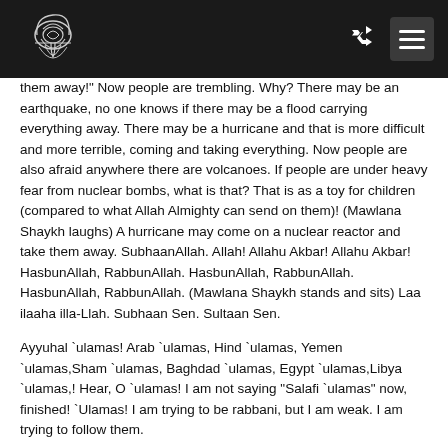[Logo] [shuffle icon] [menu icon]
them away!" Now people are trembling. Why? There may be an earthquake, no one knows if there may be a flood carrying everything away. There may be a hurricane and that is more difficult and more terrible, coming and taking everything. Now people are also afraid anywhere there are volcanoes. If people are under heavy fear from nuclear bombs, what is that? That is as a toy for children (compared to what Allah Almighty can send on them)! (Mawlana Shaykh laughs) A hurricane may come on a nuclear reactor and take them away. SubhaanAllah. Allah! Allahu Akbar! Allahu Akbar! HasbunAllah, RabbunAllah. HasbunAllah, RabbunAllah. HasbunAllah, RabbunAllah. (Mawlana Shaykh stands and sits) Laa ilaaha illa-Llah. Subhaan Sen. Sultaan Sen.
Ayyuhal `ulamas! Arab `ulamas, Hind `ulamas, Yemen `ulamas,Sham `ulamas, Baghdad `ulamas, Egypt `ulamas,Libya `ulamas,! Hear, O `ulamas! I am not saying "Salafi `ulamas" now, finished! `Ulamas! I am trying to be rabbani, but I am weak. I am trying to follow them.
O People! Try to follow rabbaaniyeen, those who belong to the Lord of Heavens! Mashaa-Allah, mashaa-Allah. Grant us, yaa rijaalAllah!